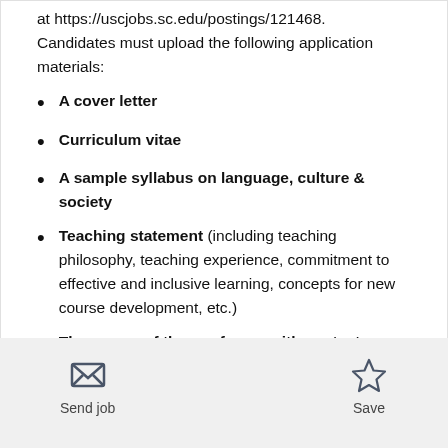at https://uscjobs.sc.edu/postings/121468. Candidates must upload the following application materials:
A cover letter
Curriculum vitae
A sample syllabus on language, culture & society
Teaching statement (including teaching philosophy, teaching experience, commitment to effective and inclusive learning, concepts for new course development, etc.)
The names of three referees with contact
Send job  Save